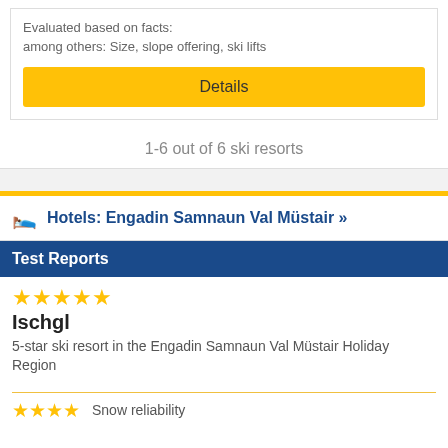Evaluated based on facts:
among others: Size, slope offering, ski lifts
Details
1-6 out of 6 ski resorts
Hotels: Engadin Samnaun Val Müstair »
Test Reports
Ischgl
5-star ski resort in the Engadin Samnaun Val Müstair Holiday Region
Snow reliability